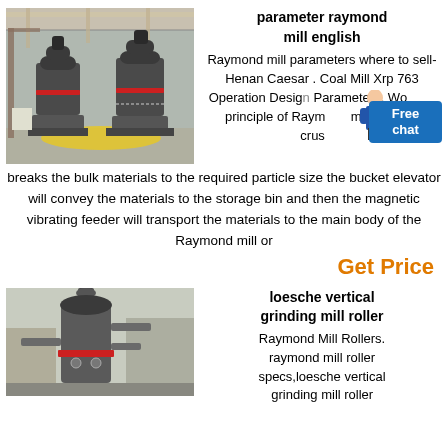[Figure (photo): Industrial Raymond mill machines inside a factory building with metal framework]
parameter raymond mill english
Raymond mill parameters where to sell-Henan Caesar . Coal Mill Xrp 763 Operation Design Parameters. Working principle of Raymond mill The jaw crusher breaks the bulk materials to the required particle size the bucket elevator will convey the materials to the storage bin and then the magnetic vibrating feeder will transport the materials to the main body of the Raymond mill or
Get Price
[Figure (photo): Loesche vertical grinding mill roller industrial equipment outdoors]
loesche vertical grinding mill roller
Raymond Mill Rollers. raymond mill roller specs,loesche vertical grinding mill roller